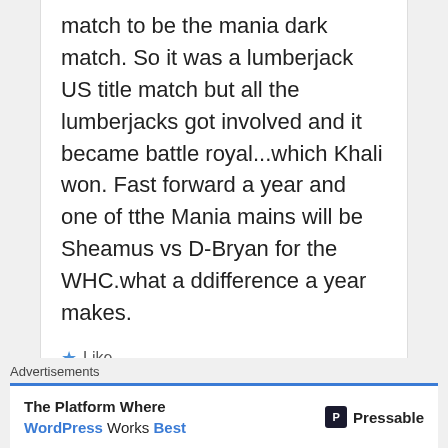match to be the mania dark match. So it was a lumberjack US title match but all the lumberjacks got involved and it became battle royal...which Khali won. Fast forward a year and one of tthe Mania mains will be Sheamus vs D-Bryan for the WHC.what a ddifference a year makes.
★ Like
👍 0 👎 0 ℹ Rate This
Reply
Advertisements
The Platform Where WordPress Works Best   Pressable